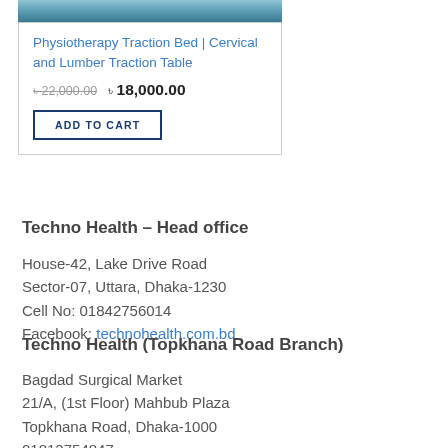[Figure (photo): Top portion of a physiotherapy traction bed product photo (partially cropped)]
Physiotherapy Traction Bed | Cervical and Lumber Traction Table
৳ 22,000.00  ৳ 18,000.00
ADD TO CART
Techno Health – Head office
House-42, Lake Drive Road
Sector-07, Uttara, Dhaka-1230
Cell No: 01842756014
Facebook: technohealth.com.bd
Techno Health (Topkhana Road Branch)
Bagdad Surgical Market
21/A, (1st Floor) Mahbub Plaza
Topkhana Road, Dhaka-1000
01812754847